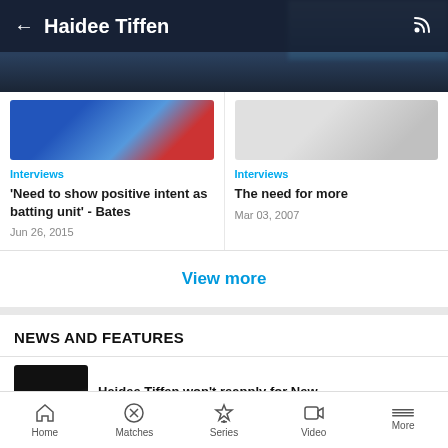← Haidee Tiffen
Overview  Stats  Records  Matches  Videos  News  P
[Figure (screenshot): Thumbnail image for interview article - blurred colorful image]
Interviews
'Need to show positive intent as batting unit' - Bates
Jun 26, 2015
[Figure (screenshot): Thumbnail image for interview article - grey/blank]
Interviews
The need for more
Mar 03, 2007
View more
NEWS AND FEATURES
Haidee Tiffen won't reapply for New
Home  Matches  Series  Video  More